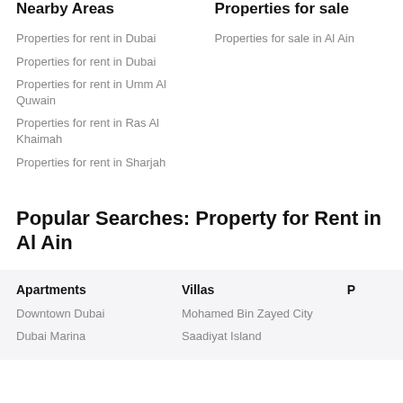Nearby Areas
Properties for rent in Dubai
Properties for rent in Dubai
Properties for rent in Umm Al Quwain
Properties for rent in Ras Al Khaimah
Properties for rent in Sharjah
Properties for sale
Properties for sale in Al Ain
Popular Searches: Property for Rent in Al Ain
Apartments
Downtown Dubai
Dubai Marina
Villas
Mohamed Bin Zayed City
Saadiyat Island
P